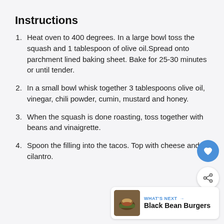Instructions
Heat oven to 400 degrees. In a large bowl toss the squash and 1 tablespoon of olive oil.Spread onto parchment lined baking sheet. Bake for 25-30 minutes or until tender.
In a small bowl whisk together 3 tablespoons olive oil, vinegar, chili powder, cumin, mustard and honey.
When the squash is done roasting, toss together with beans and vinaigrette.
Spoon the filling into the tacos. Top with cheese and cilantro.
[Figure (illustration): Blue circular button with heart icon (favorite/save button)]
[Figure (illustration): White circular button with share icon]
[Figure (illustration): What's Next card showing Black Bean Burgers with thumbnail image]